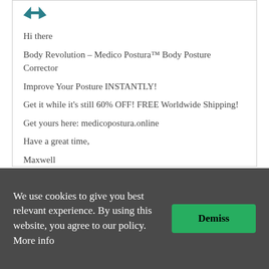[Figure (logo): Teal bird/arrow logo icon at top of comment box]
Hi there

Body Revolution – Medico Postura™ Body Posture Corrector

Improve Your Posture INSTANTLY!

Get it while it's still 60% OFF! FREE Worldwide Shipping!

Get yours here: medicopostura.online

Have a great time,

Maxwell

Contact Us – GTA 6 Grand Theft Auto
Reply
We use cookies to give you best relevant experience. By using this website, you agree to our policy. More info
Demiss